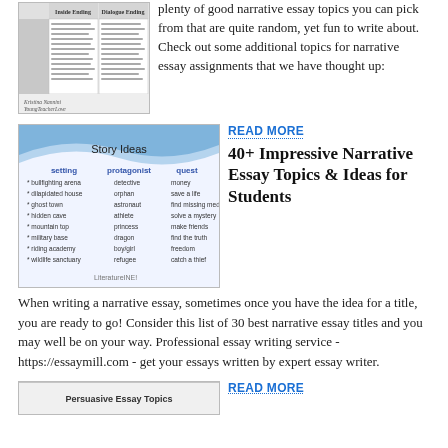[Figure (illustration): Table comparing Inside Ending vs Dialogue Ending with text columns, credited to Kristina Nannini YoungTeacherLove]
plenty of good narrative essay topics you can pick from that are quite random, yet fun to write about. Check out some additional topics for narrative essay assignments that we have thought up:
[Figure (illustration): Story Ideas chart with columns for setting, protagonist, and quest listing various items like bullfighting arena, detective, money, etc.]
READ MORE
40+ Impressive Narrative Essay Topics & Ideas for Students
When writing a narrative essay, sometimes once you have the idea for a title, you are ready to go! Consider this list of 30 best narrative essay titles and you may well be on your way. Professional essay writing service - https://essaymill.com - get your essays written by expert essay writer.
[Figure (illustration): Persuasive Essay Topics header image]
READ MORE